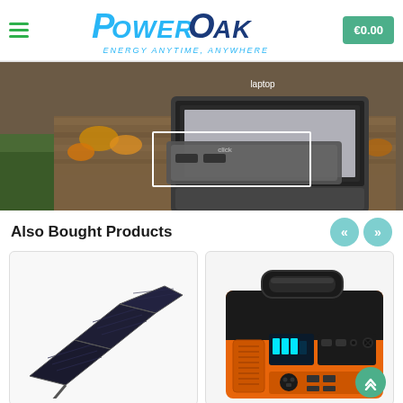[Figure (screenshot): PowerOak website header with logo, hamburger menu, and cart button showing €0.00]
[Figure (photo): Outdoor photo showing a laptop and portable power bank on a wooden surface with autumn leaves, with text 'laptop' and a white selection rectangle overlay]
Also Bought Products
[Figure (photo): Solar panel product photo - foldable black solar panel propped open at an angle]
[Figure (photo): Portable power station product photo - orange and black portable generator/power station with handle and display]